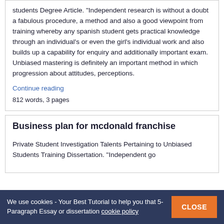students Degree Article. "Independent research is without a doubt a fabulous procedure, a method and also a good viewpoint from training whereby any spanish student gets practical knowledge through an individual's or even the girl's individual work and also builds up a capability for enquiry and additionally important exam. Unbiased mastering is definitely an important method in which progression about attitudes, perceptions.
Continue reading
812 words, 3 pages
Business plan for mcdonald franchise
Private Student Investigation Talents Pertaining to Unbiased Students Training Dissertation. "Independent go
We use cookies - Your Best Tutorial to help you that 5-Paragraph Essay or dissertation cookie policy